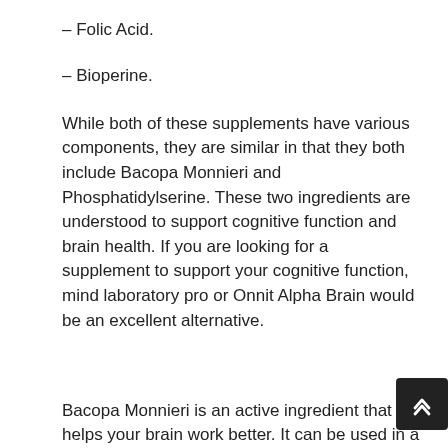– Folic Acid.
– Bioperine.
While both of these supplements have various components, they are similar in that they both include Bacopa Monnieri and Phosphatidylserine. These two ingredients are understood to support cognitive function and brain health. If you are looking for a supplement to support your cognitive function, mind laboratory pro or Onnit Alpha Brain would be an excellent alternative.
Bacopa Monnieri is an active ingredient that helps your brain work better. It can be used in a